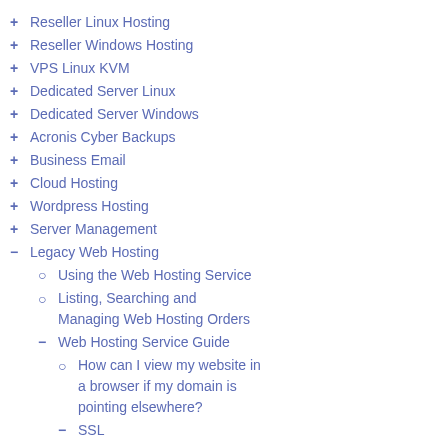+ Reseller Linux Hosting
+ Reseller Windows Hosting
+ VPS Linux KVM
+ Dedicated Server Linux
+ Dedicated Server Windows
+ Acronis Cyber Backups
+ Business Email
+ Cloud Hosting
+ Wordpress Hosting
+ Server Management
- Legacy Web Hosting
o Using the Web Hosting Service
o Listing, Searching and Managing Web Hosting Orders
- Web Hosting Service Guide
o How can I view my website in a browser if my domain is pointing elsewhere?
- SSL
What happens to Certificates
Since SSL Certificates can be reissued, they will initially be issued ... issue the certificate to extern...
Note: Re-issuing a certifica...
Example: If a customer pur... 2nd, 2020, their certificate w... have a validity of 2 years w...
In order to continue enjoyin... before October 4th, 2021 by... a new certificate would be i...
Can the customer do an early...
Yes, the customer can re-iss... days or order expiration dat...